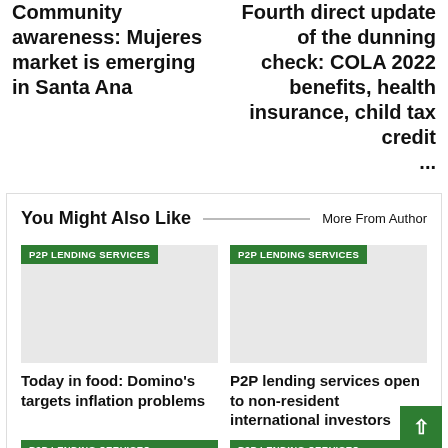Community awareness: Mujeres market is emerging in Santa Ana
Fourth direct update of the dunning check: COLA 2022 benefits, health insurance, child tax credit ...
You Might Also Like
More From Author
P2P LENDING SERVICES
Today in food: Domino's targets inflation problems
P2P LENDING SERVICES
P2P lending services open to non-resident international investors
P2P LENDING SERVICES
P2P LENDING SERVICES